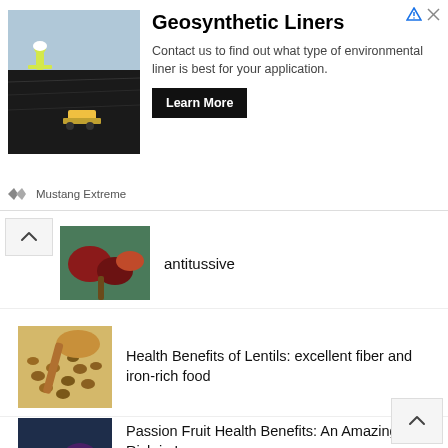[Figure (screenshot): Advertisement banner for Geosynthetic Liners by Mustang Extreme. Shows a worker on a liner installation site, with headline 'Geosynthetic Liners', subtext 'Contact us to find out what type of environmental liner is best for your application.', and a 'Learn More' button.]
antitussive
Health Benefits of Lentils: excellent fiber and iron-rich food
Passion Fruit Health Benefits: An Amazing Fruit Rich in Iron
Health Benefits of Figs: invigorates the body and soothe bronchial passages